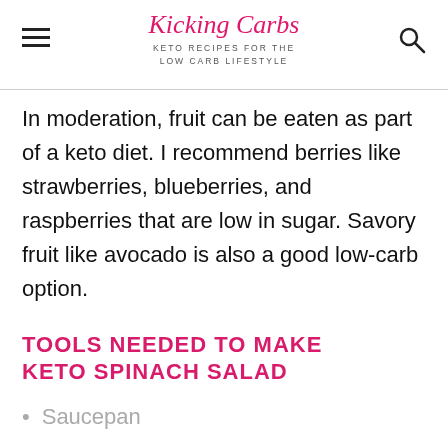Kicking Carbs — KETO RECIPES FOR THE LOW CARB LIFESTYLE
In moderation, fruit can be eaten as part of a keto diet. I recommend berries like strawberries, blueberries, and raspberries that are low in sugar. Savory fruit like avocado is also a good low-carb option.
TOOLS NEEDED TO MAKE KETO SPINACH SALAD
Saucepan